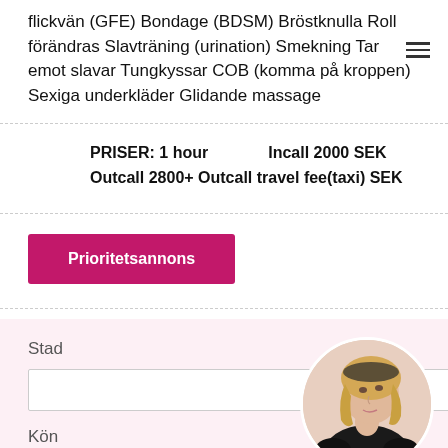flickvän (GFE) Bondage (BDSM) Bröstknulla Roll förändras Slavträning (urination) Smekning Tar emot slavar Tungkyssar COB (komma på kroppen) Sexiga underkläder Glidande massage
PRISER: 1 hour   Incall 2000 SEK
Outcall 2800+ Outcall travel fee(taxi) SEK
Prioritetsannons
Stad
Kön
[Figure (photo): Circular avatar photo of a blonde woman with curly hair wearing black clothing, looking upward and to the side.]